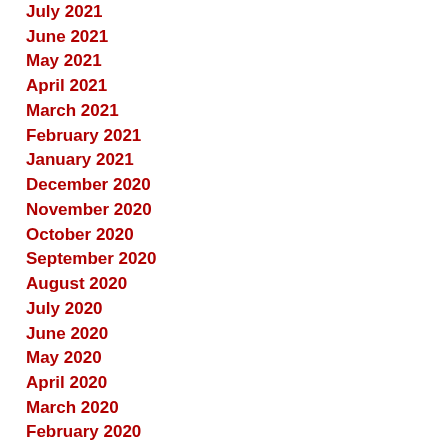July 2021
June 2021
May 2021
April 2021
March 2021
February 2021
January 2021
December 2020
November 2020
October 2020
September 2020
August 2020
July 2020
June 2020
May 2020
April 2020
March 2020
February 2020
January 2020
December 2019
November 2019
October 2019
September 2019
August 2019